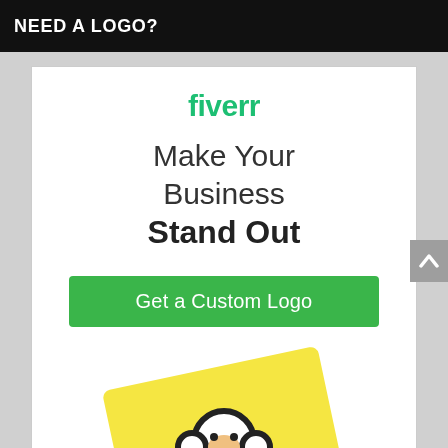NEED A LOGO?
[Figure (logo): Fiverr green logo text]
Make Your Business Stand Out
[Figure (other): Green CTA button: Get a Custom Logo]
[Figure (illustration): Yellow card with Fiverr monkey logo illustration, partially visible at bottom]